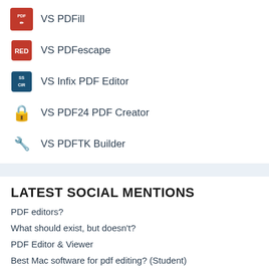VS PDFill
VS PDFescape
VS Infix PDF Editor
VS PDF24 PDF Creator
VS PDFTK Builder
LATEST SOCIAL MENTIONS
PDF editors?
What should exist, but doesn't?
PDF Editor & Viewer
Best Mac software for pdf editing? (Student)
Question from a noob - best pdf tool?
Calling all #technicalwriters and #instructionaldesigners...